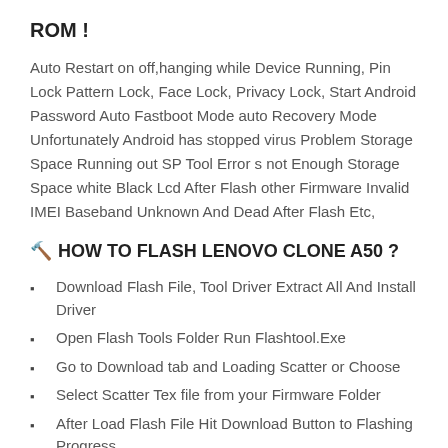ROM !
Auto Restart on off,hanging while Device Running, Pin Lock Pattern Lock, Face Lock, Privacy Lock, Start Android Password Auto Fastboot Mode auto Recovery Mode Unfortunately Android has stopped virus Problem Storage Space Running out SP Tool Error s not Enough Storage Space white Black Lcd After Flash other Firmware Invalid IMEI Baseband Unknown And Dead After Flash Etc,
🔨HOW TO FLASH LENOVO CLONE A50 ?
Download Flash File, Tool Driver Extract All And Install Driver
Open Flash Tools Folder Run Flashtool.Exe
Go to Download tab and Loading Scatter or Choose
Select Scatter Tex file from your Firmware Folder
After Load Flash File Hit Download Button to Flashing Progress
Now Power Off your Android Device And Plug USB